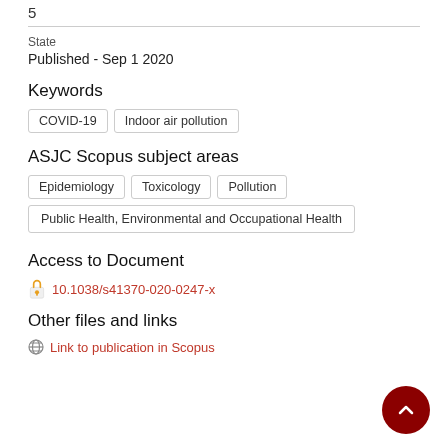5
State
Published - Sep 1 2020
Keywords
COVID-19
Indoor air pollution
ASJC Scopus subject areas
Epidemiology
Toxicology
Pollution
Public Health, Environmental and Occupational Health
Access to Document
10.1038/s41370-020-0247-x
Other files and links
Link to publication in Scopus